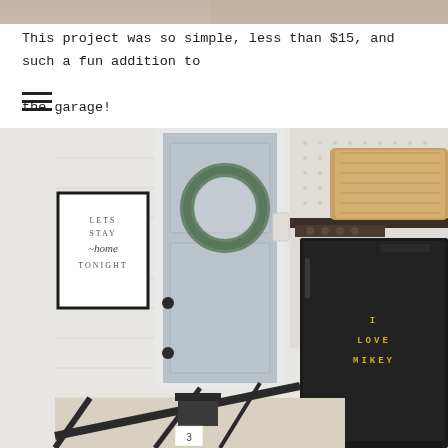[Figure (photo): Partial top strip of a photo, cut off at the top of the page]
This project was so simple, less than $15, and such a fun addition to the garage!
[Figure (other): Hamburger menu icon (three horizontal lines)]
[Figure (photo): Interior garage photo showing a light gray door with a eucalyptus wreath, a framed sign reading 'LETS STAY home TONIGHT', a black refrigerator with letter magnets spelling 'I LOVE MIKEY', pegboard wall, wicker basket on shelf, and stair railing. Page number 3 visible at bottom.]